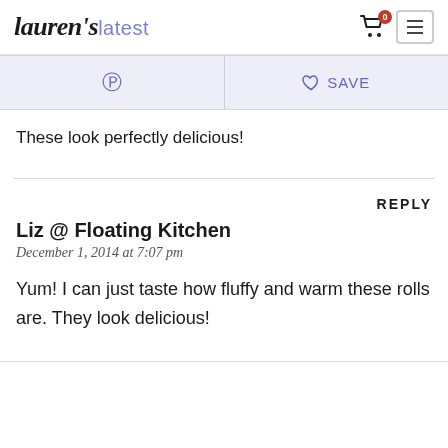lauren's latest — cart icon with badge 0, menu icon
[Figure (screenshot): Share bar with Pinterest icon and Save with heart icon]
These look perfectly delicious!
REPLY
Liz @ Floating Kitchen
December 1, 2014 at 7:07 pm
Yum! I can just taste how fluffy and warm these rolls are. They look delicious!